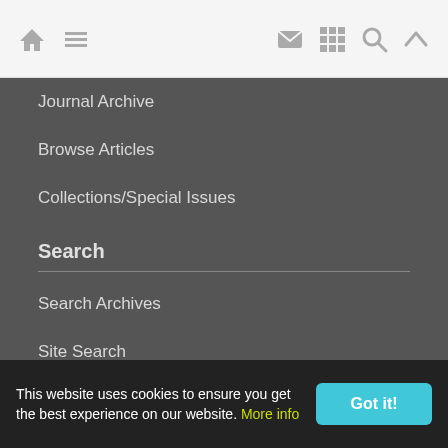[Navigation bar with home, menu, email, grid, search, and up icons]
Journal Archive
Browse Articles
Collections/Special Issues
Search
Search Archives
Site Search
Authors' List
Most Cited & Viewed
Geo-Archives
This website uses cookies to ensure you get the best experience on our website. More info